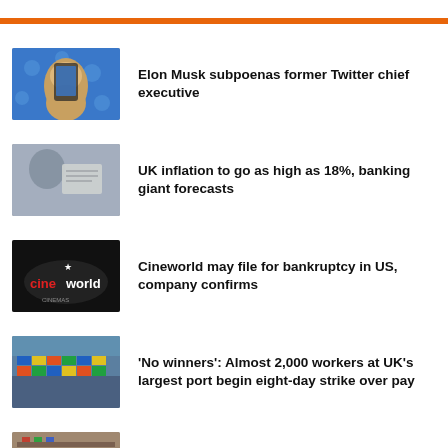Elon Musk subpoenas former Twitter chief executive
UK inflation to go as high as 18%, banking giant forecasts
Cineworld may file for bankruptcy in US, company confirms
'No winners': Almost 2,000 workers at UK's largest port begin eight-day strike over pay
Small businesses on the brink face 'impossible choices' as energy prices soar